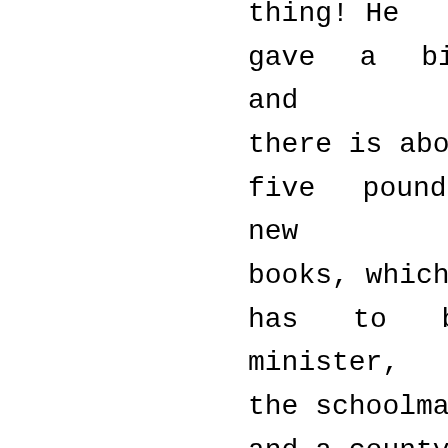thing! He gave a bit of money, too, and there is about five pounds every year for new books, which has to be chose by the minister, the schoolmaster, and a county councillor. I suppose they mean well, but their choices is rotten. We never get any of the up-to-date novels you read about in the papers. I wouldna wonder if the book-case in the Ark contained the same sort of stuff for the Noahs to peruse after a busy day with the beasts.